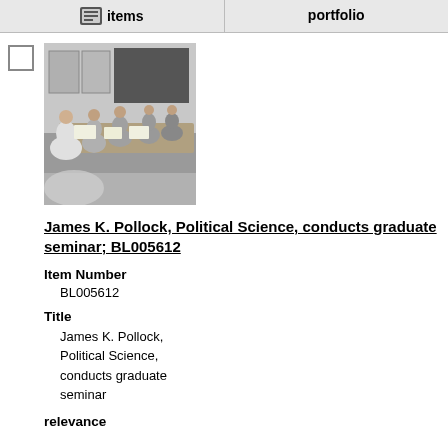items  |  portfolio
[Figure (photo): Black and white photograph of James K. Pollock conducting a graduate seminar, showing several people seated around a table with papers, and posters on the wall in the background.]
James K. Pollock, Political Science, conducts graduate seminar; BL005612
Item Number
BL005612
Title
James K. Pollock, Political Science, conducts graduate seminar
relevance